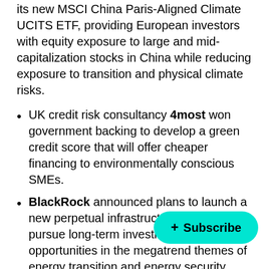its new MSCI China Paris-Aligned Climate UCITS ETF, providing European investors with equity exposure to large and mid-capitalization stocks in China while reducing exposure to transition and physical climate risks.
UK credit risk consultancy 4most won government backing to develop a green credit score that will offer cheaper financing to environmentally conscious SMEs.
BlackRock announced plans to launch a new perpetual infrastructure strategy to pursue long-term investment opportunities in the megatrend themes of energy transition and energy security.
MetaVerse Green Exchange announced the launch of Net Zero Card, a new